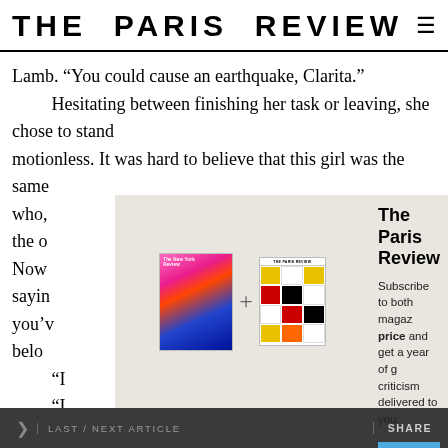THE PARIS REVIEW
Lamb. “You could cause an earthquake, Clarita.”
    Hesitating between finishing her task or leaving, she chose to stand
motionless. It was hard to believe that this girl was the same
who,
the o
Now
sayin
you’v
belo
    “I
    “I
explained.
    “It doesn’t matter,” said Clarita. “This is a bottomless
[Figure (other): Subscription overlay for The Paris Review showing two magazine covers (New York Review and The Paris Review) with a plus sign between them, overlay text 'The Paris Review', 'Subscribe to both magazines at one price and get a year of great criticism delivered to you', and a blue Subscribe Now button]
LAST / NEXT ARTICLE    SHARE